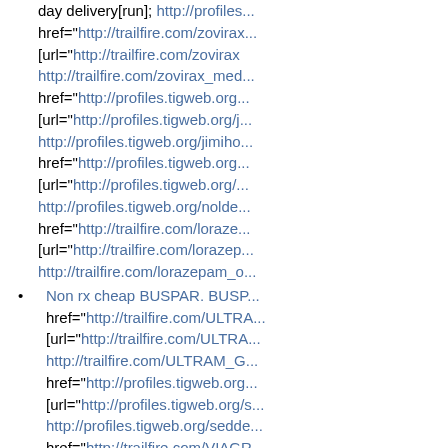day delivery[run]; http://profiles... href="http://trailfire.com/zovirax... [url="http://trailfire.com/zovirax... http://trailfire.com/zovirax_med... href="http://profiles.tigweb.org... [url="http://profiles.tigweb.org/j... http://profiles.tigweb.org/jimiho... href="http://profiles.tigweb.org... [url="http://profiles.tigweb.org/... http://profiles.tigweb.org/nolde... href="http://trailfire.com/loraze... [url="http://trailfire.com/lorazep... http://trailfire.com/lorazepam_o...
Non rx cheap BUSPAR. BUSF... href="http://trailfire.com/ULTRA... [url="http://trailfire.com/ULTRA... http://trailfire.com/ULTRAM_G... href="http://profiles.tigweb.org... [url="http://profiles.tigweb.org/s... http://profiles.tigweb.org/sedde... href="http://trailfire.com/VIAGR... [url="http://trailfire.com/VIAGR... http://trailfire.com/VIAGRA_Me... href="http://profiles.tigweb.org... [url="http://profiles.tigweb.org/... http://profiles.tigweb.org/ujiyko... href="http://profiles.tigweb.org...